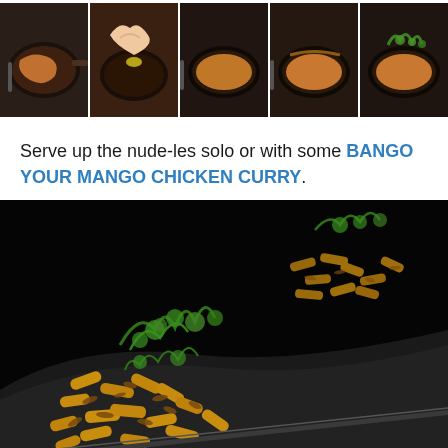[Figure (photo): A horizontal strip of five step-by-step cooking photos showing the preparation of a noodle dish in a pan: frying, cracking egg, mixing, adding spices, adding fresh herbs.]
Serve up the nude-les solo or with some BANGO YOUR MANGO CHICKEN CURRY.
[Figure (photo): A close-up photo of finished penne pasta dish with crispy fried shallots and fresh cilantro/coriander garnish, served on a dark plate, shot against a black background.]